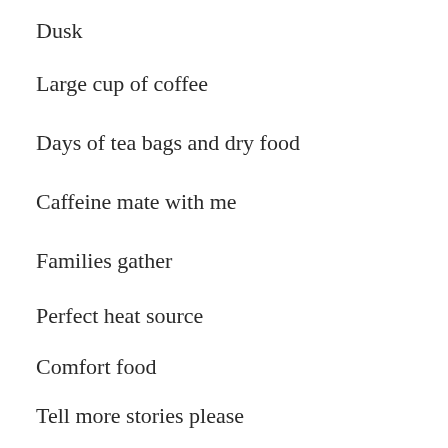Dusk
Large cup of coffee
Days of tea bags and dry food
Caffeine mate with me
Families gather
Perfect heat source
Comfort food
Tell more stories please
Homeless leaves miles
Away
Some coffee continues...